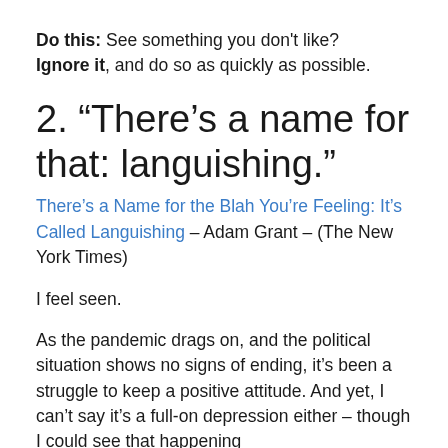Do this: See something you don't like? Ignore it, and do so as quickly as possible.
2. "There's a name for that: languishing."
There's a Name for the Blah You're Feeling: It's Called Languishing – Adam Grant – (The New York Times)
I feel seen.
As the pandemic drags on, and the political situation shows no signs of ending, it's been a struggle to keep a positive attitude. And yet, I can't say it's a full-on depression either – though I could see that happening